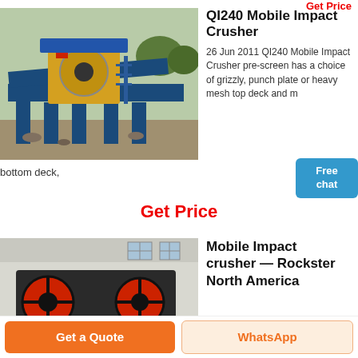QI240 Mobile Impact Crusher
26 Jun 2011 QI240 Mobile Impact Crusher pre-screen has a choice of grizzly, punch plate or heavy mesh top deck and mesh bottom deck,
[Figure (photo): QI240 Mobile Impact Crusher machine at outdoor site, blue metal structure with yellow components]
[Figure (other): Free chat button with customer service avatar]
Get Price
[Figure (photo): Mobile Impact Crusher machine indoors, dark grey/black with large red circular flywheels]
Mobile Impact crusher — Rockster North America